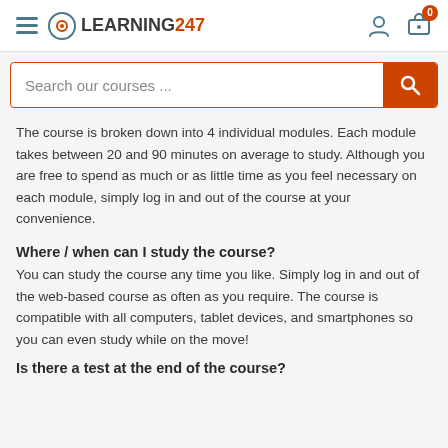LEARNING247
The course is broken down into 4 individual modules. Each module takes between 20 and 90 minutes on average to study. Although you are free to spend as much or as little time as you feel necessary on each module, simply log in and out of the course at your convenience.
Where / when can I study the course?
You can study the course any time you like. Simply log in and out of the web-based course as often as you require. The course is compatible with all computers, tablet devices, and smartphones so you can even study while on the move!
Is there a test at the end of the course?